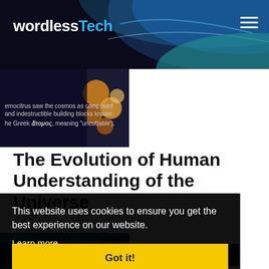wordlessTech
[Figure (photo): Partial view of an article thumbnail showing text about Democritus and atoms on a dark purple background with molecule imagery]
The Evolution of Human Understanding of the Universe
[Figure (photo): Partial view of a second article thumbnail with teal/blue water background]
This website uses cookies to ensure you get the best experience on our website.
Learn more
Got it!
Futuristic Kronos Submarine